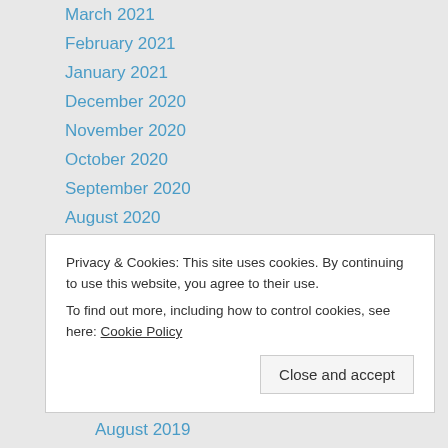March 2021
February 2021
January 2021
December 2020
November 2020
October 2020
September 2020
August 2020
July 2020
June 2020
May 2020
April 2020
March 2020
February 2020
Privacy & Cookies: This site uses cookies. By continuing to use this website, you agree to their use.
To find out more, including how to control cookies, see here: Cookie Policy
August 2019